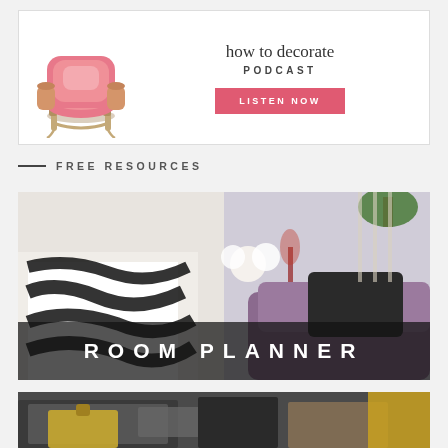[Figure (illustration): Podcast banner with a pink armchair on the left and text 'how to decorate PODCAST' with a pink 'LISTEN NOW' button on the right, on a white background with border.]
FREE RESOURCES
[Figure (photo): Interior design photo showing a zebra-print chair and purple sofa in a living room setting, with a dark overlay banner reading 'ROOM PLANNER' in white letters.]
[Figure (photo): Flat lay photo showing notebooks, clipboards, and stationery items on a dark surface, partially visible at the bottom of the page.]